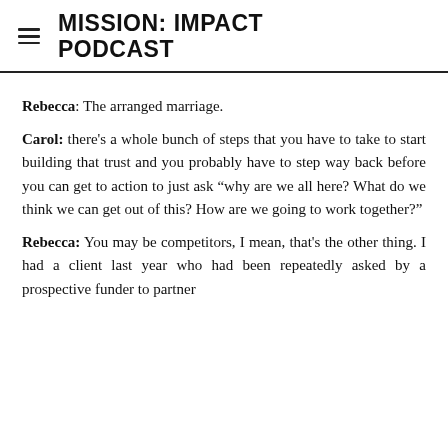MISSION: IMPACT PODCAST
Rebecca: The arranged marriage.
Carol: there's a whole bunch of steps that you have to take to start building that trust and you probably have to step way back before you can get to action to just ask “why are we all here? What do we think we can get out of this? How are we going to work together?”
Rebecca: You may be competitors, I mean, that’s the other thing. I had a client last year who had been repeatedly asked by a prospective funder to partner